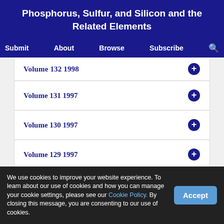Phosphorus, Sulfur, and Silicon and the Related Elements
Submit  About  Browse  Subscribe
Volume 132 1998
Volume 131 1997
Volume 130 1997
Volume 129 1997
Volume 128 1997
Volume 127 1997
We use cookies to improve your website experience. To learn about our use of cookies and how you can manage your cookie settings, please see our Cookie Policy. By closing this message, you are consenting to our use of cookies.